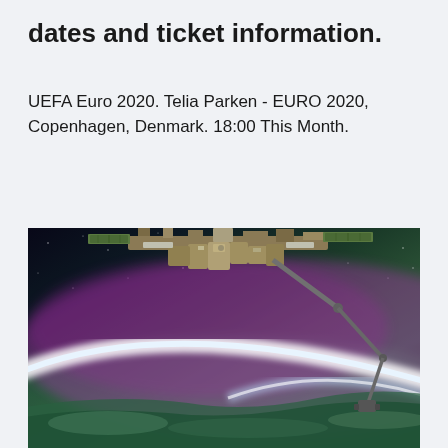dates and ticket information.
UEFA Euro 2020. Telia Parken - EURO 2020, Copenhagen, Denmark. 18:00 This Month.
[Figure (photo): Photograph taken from the International Space Station showing a robotic arm against the backdrop of Earth's atmosphere with vivid aurora borealis in purple and green hues, with clouds visible below.]